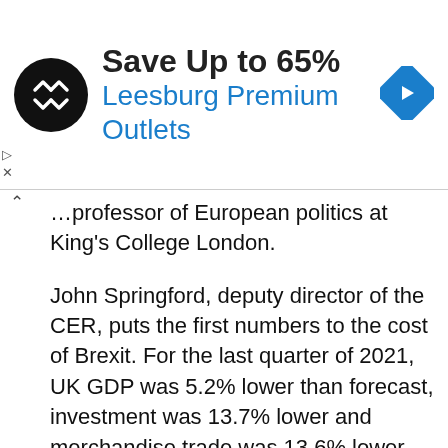[Figure (infographic): Advertisement banner: black circular logo with double-arrow symbol, text 'Save Up to 65%' in bold dark, 'Leesburg Premium Outlets' in blue, and a blue diamond navigation icon on the right.]
...professor of European politics at King's College London.
John Springford, deputy director of the CER, puts the first numbers to the cost of Brexit. For the last quarter of 2021, UK GDP was 5.2% lower than forecast, investment was 13.7% lower and merchandise trade was 13.6% lower.
He affirms that the poor economic performance of the United Kingdom in the pandemic may be part of the downward calculation of GDP, but the truth is that since